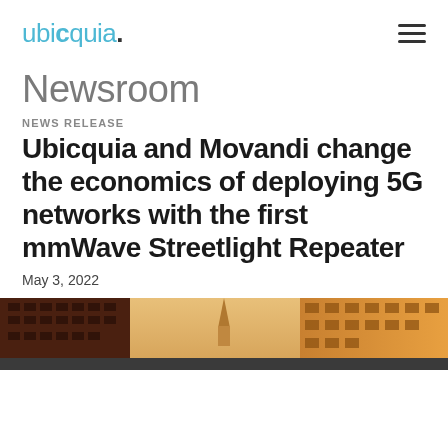ubicquia. [hamburger menu icon]
Newsroom
NEWS RELEASE
Ubicquia and Movandi change the economics of deploying 5G networks with the first mmWave Streetlight Repeater
May 3, 2022
[Figure (photo): Photograph of urban city street with brick buildings and warm golden light, with a church spire visible in the background]